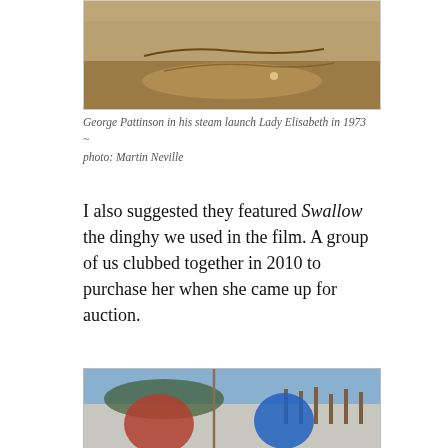[Figure (photo): Top portion of a photograph showing a steam launch on water with brown/golden tones, partially cropped at top of page.]
George Pattinson in his steam launch Lady Elisabeth in 1973 ~ photo: Martin Neville
I also suggested they featured Swallow the dinghy we used in the film. A group of us clubbed together in 2010 to purchase her when she came up for auction.
[Figure (photo): Two elderly men on a sailboat on a lake. One wearing a red jacket on the left, one wearing a blue jacket on the right, with wooden dock posts visible in the background.]